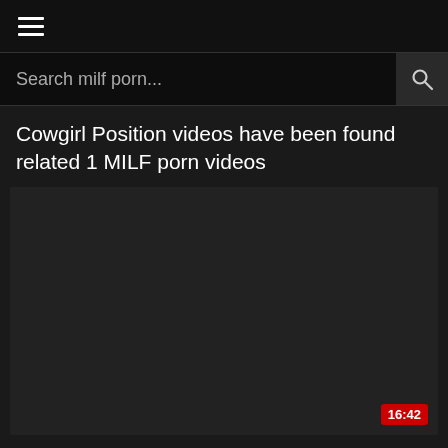≡
Search milf porn...
Cowgirl Position videos have been found related 1 MILF porn videos
[Figure (screenshot): Dark video thumbnail with duration badge showing 16:42 in red at the bottom right]